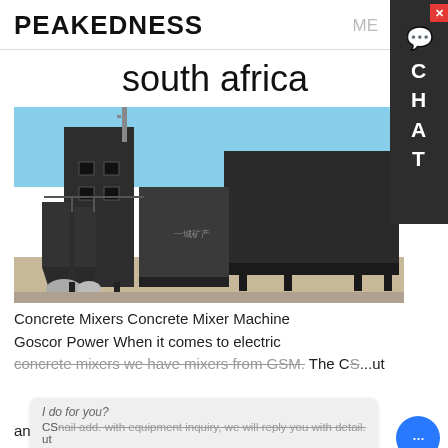PEAKEDNESS
south africa
[Figure (photo): Industrial concrete batch plant with dark metal structures, silos, and a large enclosed module, photographed outdoors under a blue sky.]
Concrete Mixers Concrete Mixer Machine Goscor Power When it comes to electric
concrete mixers we have mixers from GSM. The CS...ut
and a 150-litre drum. The CS120M has an